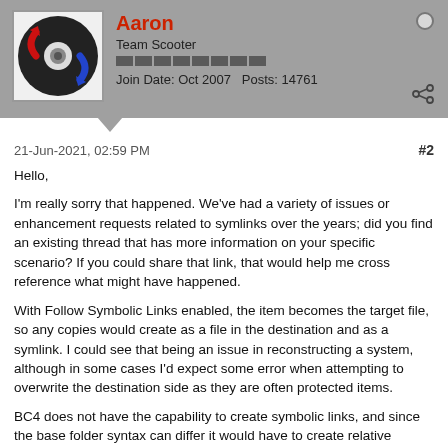Aaron
Team Scooter
Join Date: Oct 2007  Posts: 14761
21-Jun-2021, 02:59 PM
#2
Hello,

I'm really sorry that happened. We've had a variety of issues or enhancement requests related to symlinks over the years; did you find an existing thread that has more information on your specific scenario? If you could share that link, that would help me cross reference what might have happened.

With Follow Symbolic Links enabled, the item becomes the target file, so any copies would create as a file in the destination and as a symlink. I could see that being an issue in reconstructing a system, although in some cases I'd expect some error when attempting to overwrite the destination side as they are often protected items.

BC4 does not have the capability to create symbolic links, and since the base folder syntax can differ it would have to create relative symbolic links. One related request (that we haven't been able to tackle yet) would be to filter on or exclude symbolic links. This would allow you to work on only the real files as a first pass, then narrow and review (and manually recreate) any symbolic links as a second pass. Would this have helped during your system reconstruction?